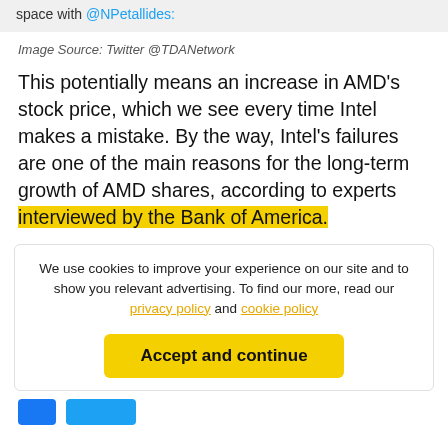space with @NPetallides:
Image Source: Twitter @TDANetwork
This potentially means an increase in AMD's stock price, which we see every time Intel makes a mistake. By the way, Intel's failures are one of the main reasons for the long-term growth of AMD shares, according to experts interviewed by the Bank of America.
We use cookies to improve your experience on our site and to show you relevant advertising. To find our more, read our privacy policy and cookie policy
Accept and continue